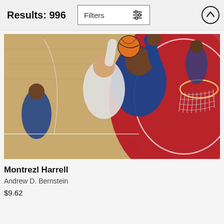Results: 996
Filters
[Figure (photo): NBA basketball game action shot viewed from above the basket, showing a LA Clippers player (Montrezl Harrell, #5, in blue uniform) blocking a Phoenix Suns player driving to the basket, with the basketball hoop and red court visible.]
Montrezl Harrell
Andrew D. Bernstein
$9.62